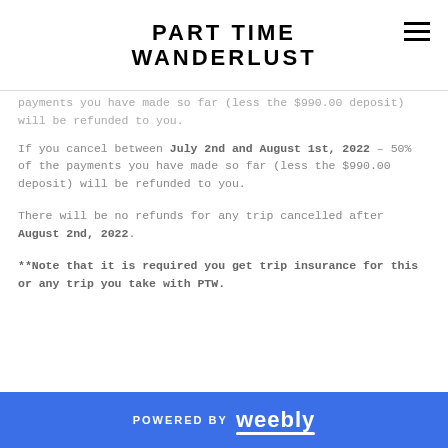PART TIME WANDERLUST
payments you have made so far (less the $990.00 deposit) will be refunded to you.
If you cancel between July 2nd and August 1st, 2022 – 50% of the payments you have made so far (less the $990.00 deposit) will be refunded to you.
There will be no refunds for any trip cancelled after August 2nd, 2022.
**Note that it is required you get trip insurance for this or any trip you take with PTW.
POWERED BY weebly